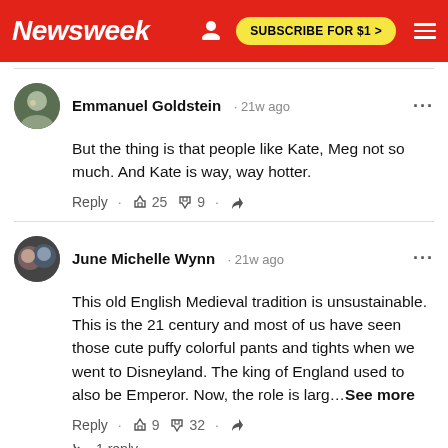Newsweek — SUBSCRIBE FOR $1 >
Emmanuel Goldstein · 21w ago
But the thing is that people like Kate, Meg not so much. And Kate is way, way hotter.
Reply · 👍 25 👎 9 · Share
June Michelle Wynn · 21w ago
This old English Medieval tradition is unsustainable. This is the 21 century and most of us have seen those cute puffy colorful pants and tights when we went to Disneyland. The king of England used to also be Emperor. Now, the role is larg…See more
Reply · 👍 9 👎 32 · Share
↪ 1 reply